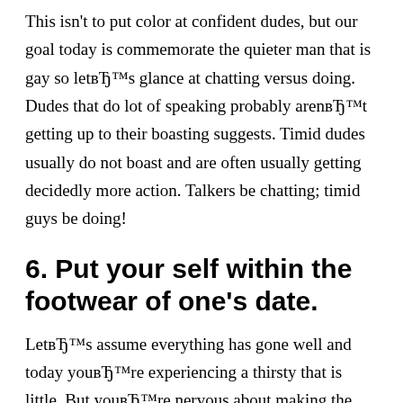This isn't to put color at confident dudes, but our goal today is commemorate the quieter man that is gay so letвЂ™s glance at chatting versus doing. Dudes that do lot of speaking probably arenвЂ™t getting up to their boasting suggests. Timid dudes usually do not boast and are often usually getting decidedly more action. Talkers be chatting; timid guys be doing!
6. Put your self within the footwear of one's date.
LetвЂ™s assume everything has gone well and today youвЂ™re experiencing a thirsty that is little. But youвЂ™re nervous about making the move that is first. Place yourself in their shoes. Do you want this to atti...